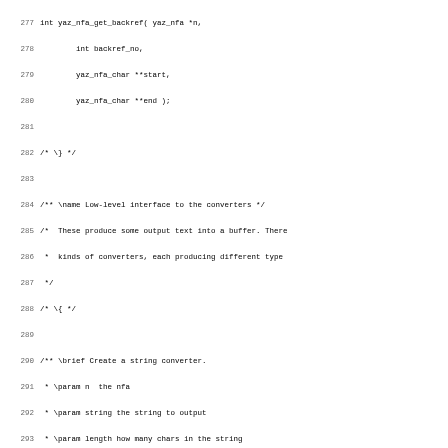Source code listing, lines 277-308, showing C API documentation and function declarations for yaz_nfa converter functions.